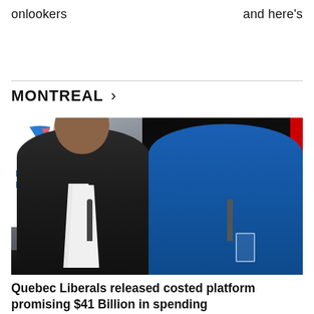onlookers
and here's
MONTREAL >
[Figure (photo): Two politicians seated at a table during a press conference. On the left, a man in a dark suit in front of a Parti Libéral du Québec banner. On the right, a woman in a blue blazer pointing upward with her index finger. Microphones on the table, dark background.]
Quebec Liberals released costed platform promising $41 Billion in spending